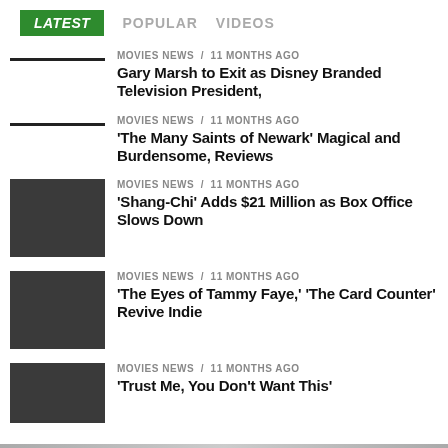LATEST   POPULAR   VIDEOS
MOVIES NEWS / 11 months ago
Gary Marsh to Exit as Disney Branded Television President,
MOVIES NEWS / 11 months ago
'The Many Saints of Newark' Magical and Burdensome, Reviews
MOVIES NEWS / 11 months ago
'Shang-Chi' Adds $21 Million as Box Office Slows Down
MOVIES NEWS / 11 months ago
'The Eyes of Tammy Faye,' 'The Card Counter' Revive Indie
MOVIES NEWS / 11 months ago
'Trust Me, You Don't Want This'